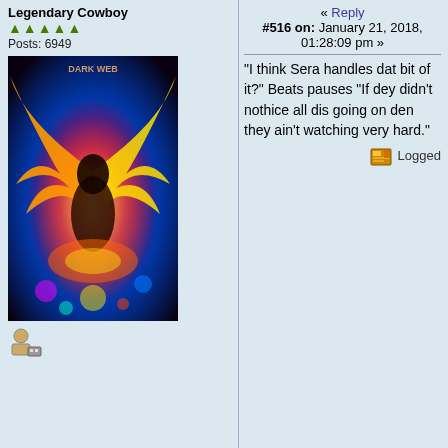Legendary Cowboy
Posts: 6949
[Figure (illustration): A figure with fiery phoenix wings against a dark colorful background]
« Reply #516 on: January 21, 2018, 01:28:09 pm »
"I think Sera handles dat bit of it?" Beats pauses "If dey didn't nothice all dis going on den they ain't watching very hard."
Logged
killa_robot
Veteran Cowboy
Posts: 5597
[Figure (photo): A white kitten being held in hands with text IT'S DANGEROUS TO GO ALONE! TAKE THIS.]
Re: Dark Web « Reply #517 on: January 21, 2018, 11:53:19 pm »
Quote from: Forge on January 21, 2018, 01:28:09 pm
"I think Sera handles dat bit of it?" Beats pauses "If dey didn't nothice all dis going on den they ain't watching very hard."
"Agreed," Emend replies. "Once Saint is done altering the scene